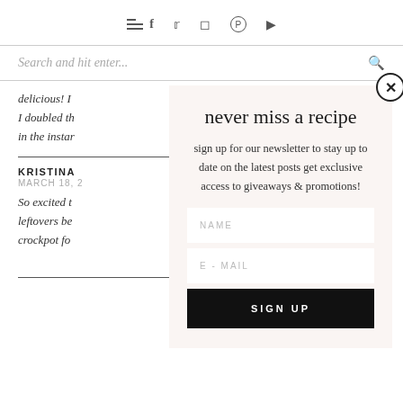Navigation bar with menu, twitter, instagram, pinterest, youtube icons
Search and hit enter...
delicious! I doubled th in the insta
KRISTINA
MARCH 18, 2
So excited t leftovers be crockpot fo
never miss a recipe
sign up for our newsletter to stay up to date on the latest posts get exclusive access to giveaways & promotions!
NAME
E-MAIL
SIGN UP